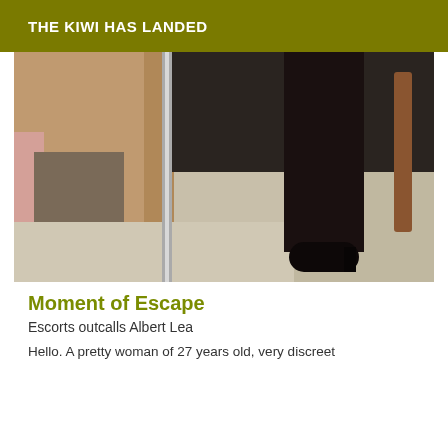THE KIWI HAS LANDED
[Figure (photo): Photo of legs wearing dark stockings and high heeled boots, taken in a room with a mirror frame visible, light colored floor visible]
Moment of Escape
Escorts outcalls Albert Lea
Hello. A pretty woman of 27 years old, very discreet